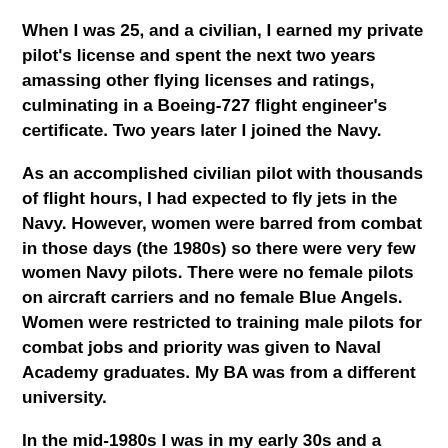When I was 25, and a civilian, I earned my private pilot's license and spent the next two years amassing other flying licenses and ratings, culminating in a Boeing-727 flight engineer's certificate. Two years later I joined the Navy.
As an accomplished civilian pilot with thousands of flight hours, I had expected to fly jets in the Navy. However, women were barred from combat in those days (the 1980s) so there were very few women Navy pilots. There were no female pilots on aircraft carriers and no female Blue Angels. Women were restricted to training male pilots for combat jobs and priority was given to Naval Academy graduates. My BA was from a different university.
In the mid-1980s I was in my early 30s and a